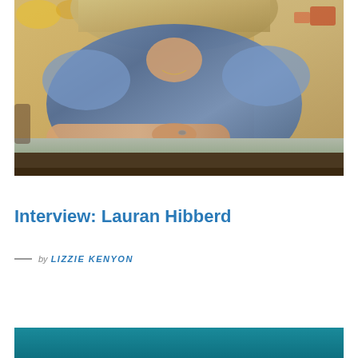[Figure (photo): A woman in a blue ruffle dress leaning on a table, photographed from shoulders up, in a warm-toned indoor setting resembling a diner or cafe]
Interview: Lauran Hibberd
by LIZZIE KENYON
[Figure (photo): Bottom portion of a teal/dark cyan colored image, partially visible at bottom of page]